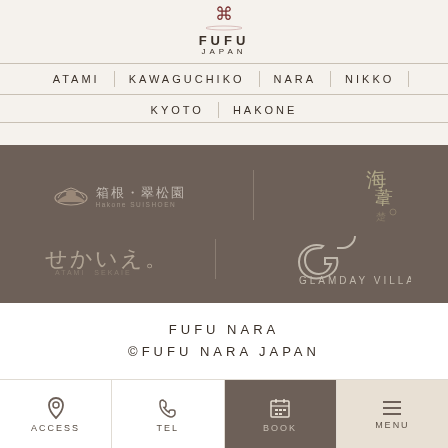[Figure (logo): FUFU JAPAN logo with decorative bird/wave motif above text]
ATAMI | KAWAGUCHIKO | NARA | NIKKO
KYOTO | HAKONE
[Figure (logo): Dark brown banner with partner hotel logos: Hakone Suishoen (箱根・翠松園), and a Japanese calligraphy logo on right; second row: Sekaie (せかいえ) and GLAMDAY VILLA]
FUFU NARA
©FUFU NARA JAPAN
ACCESS  TEL  BOOK  MENU